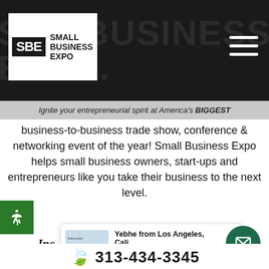SBE Small Business Expo
Ignite your entrepreneurial spirit at America's BIGGEST business-to-business trade show, conference & networking event of the year! Small Business Expo helps small business owners, start-ups and entrepreneurs like you take their business to the next level.
[Figure (logo): Inc. 5000 logo]
[Figure (logo): I Love Small Business logo]
[Figure (logo): The Show Producers logo]
Yebhe from Los Angeles, Cali... just registered for Small Business Expo. 2 minutes ago | by TrustPulse
313-434-3345